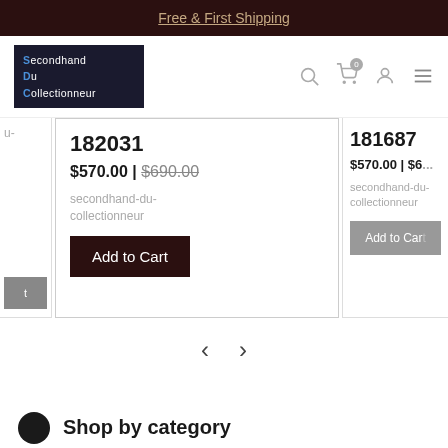Free & First Shipping
[Figure (logo): Secondhand Du Collectionneur logo — white text on dark navy background]
182031
$570.00 | $690.00
secondhand-du-collectionneur
Add to Cart
181687
$570.00 | $6...
secondhand-du-collectionneur
Add to Cart
Shop by category
and find what you need